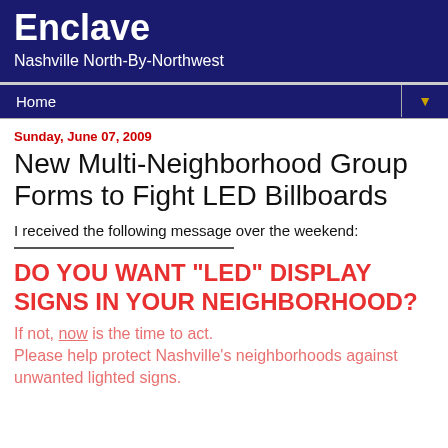Enclave
Nashville North-By-Northwest
Home ▼
Sunday, June 07, 2009
New Multi-Neighborhood Group Forms to Fight LED Billboards
I received the following message over the weekend:
DO YOU WANT "LED" DISPLAY SIGNS IN YOUR NEIGHBORHOOD?
If not, now is the time to act.
Please help protect Nashville's neighborhoods against unwanted lighted signs.